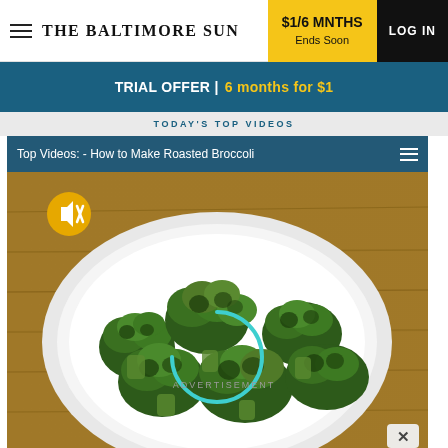THE BALTIMORE SUN
$1/6 MNTHS Ends Soon
LOG IN
TRIAL OFFER | 6 months for $1
TODAY'S TOP VIDEOS
Top Videos: - How to Make Roasted Broccoli
[Figure (screenshot): Video thumbnail showing a white bowl of roasted broccoli florets on a wooden cutting board background, with a yellow mute button icon and a teal loading arc spinner overlay.]
ADVERTISEMENT